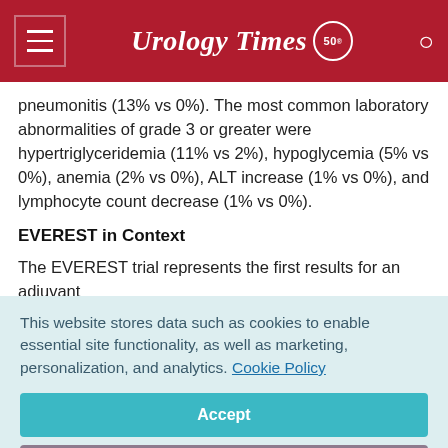Urology Times 50
pneumonitis (13% vs 0%). The most common laboratory abnormalities of grade 3 or greater were hypertriglyceridemia (11% vs 2%), hypoglycemia (5% vs 0%), anemia (2% vs 0%), ALT increase (1% vs 0%), and lymphocyte count decrease (1% vs 0%).
EVEREST in Context
The EVEREST trial represents the first results for an adjuvant
This website stores data such as cookies to enable essential site functionality, as well as marketing, personalization, and analytics. Cookie Policy
Accept
Deny